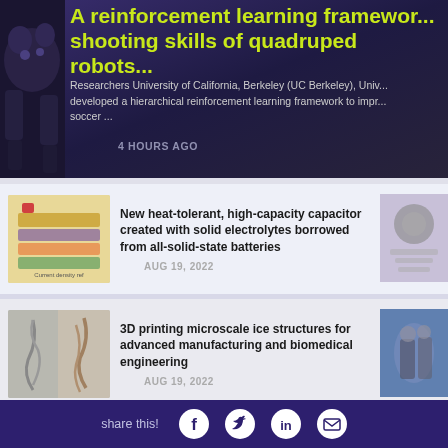A reinforcement learning framework shooting skills of quadruped robots
Researchers University of California, Berkeley (UC Berkeley), Univ... developed a hierarchical reinforcement learning framework to impr... soccer ...
4 HOURS AGO
[Figure (screenshot): Thumbnail of capacitor diagram with layered structure]
New heat-tolerant, high-capacity capacitor created with solid electrolytes borrowed from all-solid-state batteries
AUG 19, 2022
[Figure (screenshot): Thumbnail of 3D printed microscale ice structures]
3D printing microscale ice structures for advanced manufacturing and biomedical engineering
AUG 19, 2022
[Figure (photo): Thumbnail of aquabots blue liquid image]
Aquabots: Ultrasoft liquid robots for biomedical and environmental applications
share this!